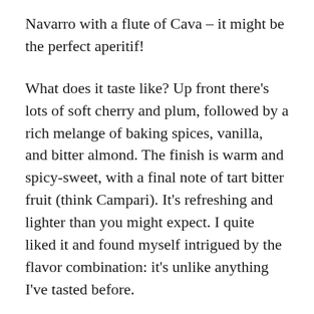Navarro with a flute of Cava – it might be the perfect aperitif!
What does it taste like? Up front there's lots of soft cherry and plum, followed by a rich melange of baking spices, vanilla, and bitter almond. The finish is warm and spicy-sweet, with a final note of tart bitter fruit (think Campari). It's refreshing and lighter than you might expect. I quite liked it and found myself intrigued by the flavor combination: it's unlike anything I've tasted before.